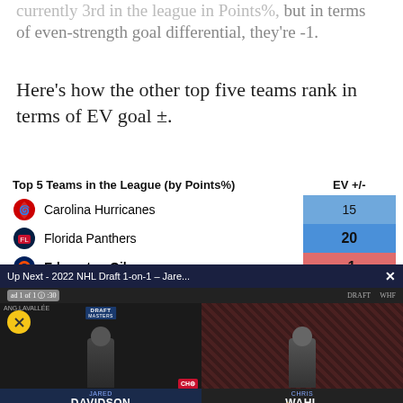currently 3rd in the league in Points%, but in terms of even-strength goal differential, they're -1.
Here's how the other top five teams rank in terms of EV goal ±.
| Top 5 Teams in the League (by Points%) | EV +/- |
| --- | --- |
| Carolina Hurricanes | 15 |
| Florida Panthers | 20 |
| Edmonton Oilers | -1 |
| Washington Capitals | 13 |
| Tampa Bay Lightning | 5 |
Data Via EvolvingHockey (As...
League-wide, Edmonton's even-strength goal share... strength goal share... share and high dan... sustain as the seas...
[Figure (screenshot): Video overlay: Up Next - 2022 NHL Draft 1-on-1 - Jare... with ad counter and two interviewees DAVIDSON and WAHL]